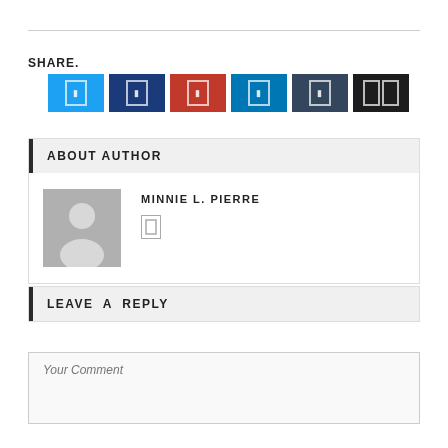SHARE.
[Figure (other): Six social share buttons in colors: Twitter (blue), Facebook (dark blue), Google/Pinterest (red), LinkedIn (teal), Tumblr (slate), more (dark), each with icon]
ABOUT AUTHOR
[Figure (other): Generic user avatar placeholder in grey]
MINNIE L. PIERRE
LEAVE  A  REPLY
Your Comment